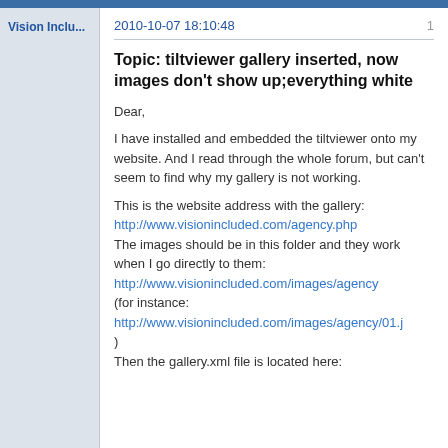Vision Inclu...   2010-10-07 18:10:48   1
Topic: tiltviewer gallery inserted, now images don't show up;everything white
Dear,
I have installed and embedded the tiltviewer onto my website. And I read through the whole forum, but can't seem to find why my gallery is not working.
This is the website address with the gallery:
http://www.visionincluded.com/agency.php
The images should be in this folder and they work when I go directly to them:
http://www.visionincluded.com/images/agency
(for instance:
http://www.visionincluded.com/images/agency/01.j
)
Then the gallery.xml file is located here: